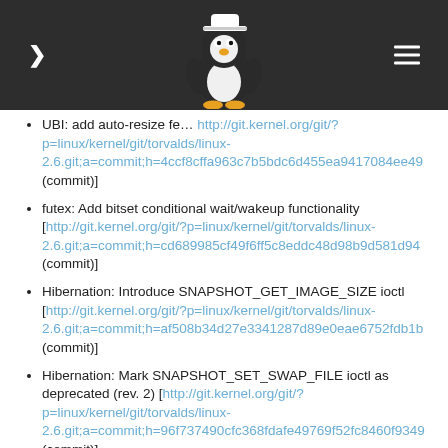Linux kernel changelog navigation header
UBI: add auto-resize feature [http://git.kernel.org/git/?p=linux/kernel/git/torvalds/linux-2.6.git;a=commit;h=4ccf8cffa963c7b5bdc6d455ea9417084ee49... (commit)]
futex: Add bitset conditional wait/wakeup functionality [http://git.kernel.org/git/?p=linux/kernel/git/torvalds/linux-2.6.git;a=commit;h=cd689985cf49f6ff5c8eddc48d98b9d581d94... (commit)]
Hibernation: Introduce SNAPSHOT_GET_IMAGE_SIZE ioctl [http://git.kernel.org/git/?p=linux/kernel/git/torvalds/linux-2.6.git;a=commit;h=af508b34d27e3341287d89e0eae6752fdb1b... (commit)]
Hibernation: Mark SNAPSHOT_SET_SWAP_FILE ioctl as deprecated (rev. 2) [http://git.kernel.org/git/?p=linux/kernel/git/torvalds/linux-2.6.git;a=commit;h=96f737490cfc368fdafe49769f52fc8460f9349... (commit)]
Suspend: Testing facility (rev. 2) [http://git.kernel.org/git/?p=linux/kernel/git/torvalds/linux-...